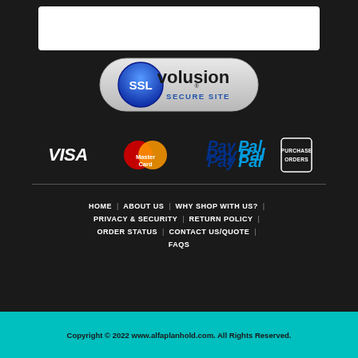[Figure (logo): White rectangle bar at top of dark footer area]
[Figure (logo): SSL Volusion Secure Site badge - blue SSL circle logo with volusion text and SECURE SITE subtitle on silver pill-shaped badge]
[Figure (logo): Payment method icons: VISA, MasterCard, PayPal, Purchase Orders]
HOME | ABOUT US | WHY SHOP WITH US? | PRIVACY & SECURITY | RETURN POLICY | ORDER STATUS | CONTACT US/QUOTE | FAQS
Copyright © 2022 www.alfaplanhold.com. All Rights Reserved.